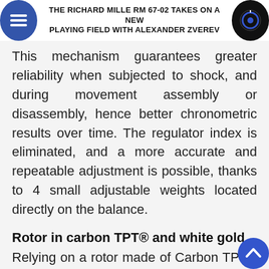THE RICHARD MILLE RM 67-02 TAKES ON A NEW PLAYING FIELD WITH ALEXANDER ZVEREV
This mechanism guarantees greater reliability when subjected to shock, and during movement assembly or disassembly, hence better chronometric results over time. The regulator index is eliminated, and a more accurate and repeatable adjustment is possible, thanks to 4 small adjustable weights located directly on the balance.
Rotor in carbon TPT® and white gold
Relying on a rotor made of Carbon TPT® and white gold, combined with the OneWay® winding system, which has ceramic ball bearings, the barrel can be efficiently wound while maintaining the compact dimension of an extra-flat skeletonized movement.